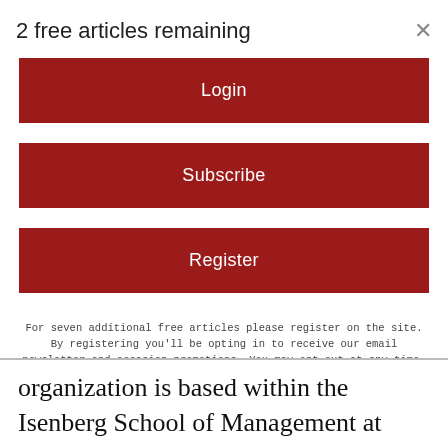2 free articles remaining
Login
Subscribe
Register
For seven additional free articles please register on the site. By registering you'll be opting in to receive our email newsletter and occasion promotions. You may opt out at any time.
organization is based within the Isenberg School of Management at UMass Amherst and has offices throughout the state.